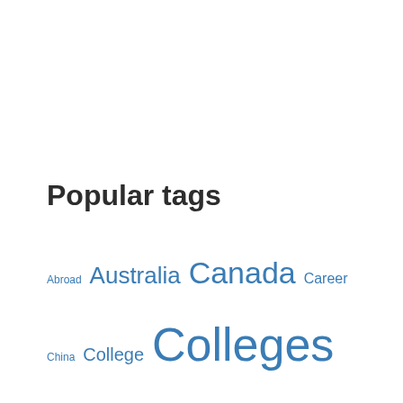Popular tags
Abroad Australia Canada Career China College Colleges Competition Engineering Essay Essay tips Express Entry Foreign Students Free Online Course Free Online Courses Germany Graduate